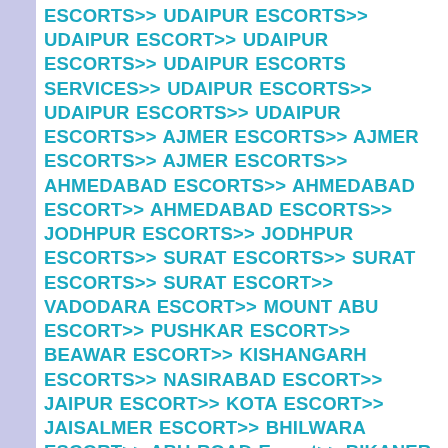ESCORTS>> UDAIPUR ESCORTS>> UDAIPUR ESCORT>> UDAIPUR ESCORTS>> UDAIPUR ESCORTS SERVICES>> UDAIPUR ESCORTS>> UDAIPUR ESCORTS>> UDAIPUR ESCORTS>> AJMER ESCORTS>> AJMER ESCORTS>> AJMER ESCORTS>> AHMEDABAD ESCORTS>> AHMEDABAD ESCORT>> AHMEDABAD ESCORTS>> JODHPUR ESCORTS>> JODHPUR ESCORTS>> SURAT ESCORTS>> SURAT ESCORTS>> SURAT ESCORT>> VADODARA ESCORT>> MOUNT ABU ESCORT>> PUSHKAR ESCORT>> BEAWAR ESCORT>> KISHANGARH ESCORTS>> NASIRABAD ESCORT>> JAIPUR ESCORT>> KOTA ESCORT>> JAISALMER ESCORT>> BHILWARA ESCORT>> ABU ROAD Escort>> BIKANER ESCORT>> CHITTORGARH ESCORT>> SIKAR ESCORT>> ALWAR ESCORT>> BANSWARA ESCORT>> BARAN